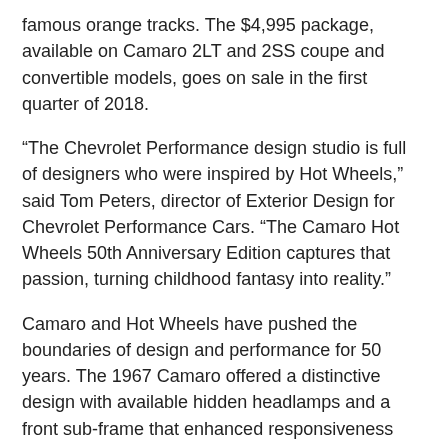famous orange tracks. The $4,995 package, available on Camaro 2LT and 2SS coupe and convertible models, goes on sale in the first quarter of 2018.
“The Chevrolet Performance design studio is full of designers who were inspired by Hot Wheels,” said Tom Peters, director of Exterior Design for Chevrolet Performance Cars. “The Camaro Hot Wheels 50th Anniversary Edition captures that passion, turning childhood fantasy into reality.”
Camaro and Hot Wheels have pushed the boundaries of design and performance for 50 years. The 1967 Camaro offered a distinctive design with available hidden headlamps and a front sub-frame that enhanced responsiveness and refinement. In 1968, Hot Wheels elevated the performance of toy vehicles with wide wheels and low-friction axles, designing them to be the fastest toy cars on and off the track.